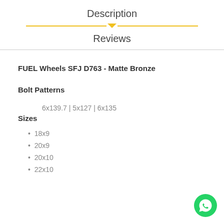Description
Reviews
FUEL Wheels SFJ D763 - Matte Bronze
Bolt Patterns
6x139.7 | 5x127 | 6x135
Sizes
18x9
20x9
20x10
22x10